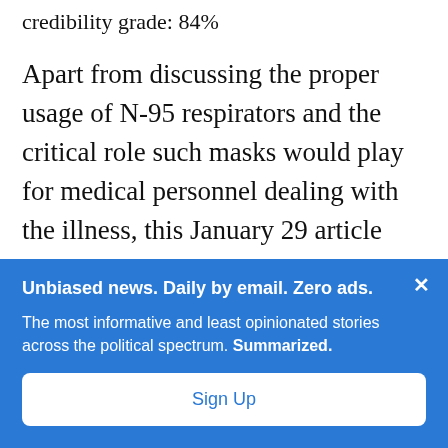credibility grade: 84%
Apart from discussing the proper usage of N-95 respirators and the critical role such masks would play for medical personnel dealing with the illness, this January 29 article acknowledged the potential benefits — however meagre —
Unbiased news. Daily by email. Zero ads.
The most informative and least opinionated stories across the political spectrum. Summarized.
Sign Up